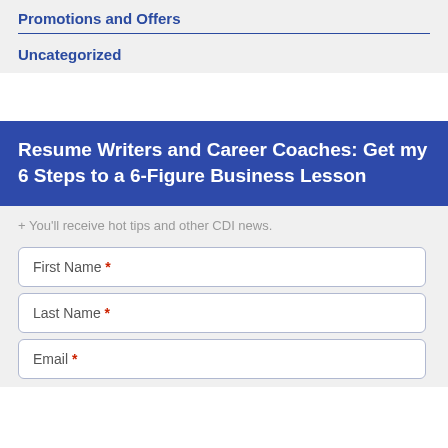Promotions and Offers
Uncategorized
Resume Writers and Career Coaches: Get my 6 Steps to a 6-Figure Business Lesson
+ You'll receive hot tips and other CDI news.
First Name *
Last Name *
Email *